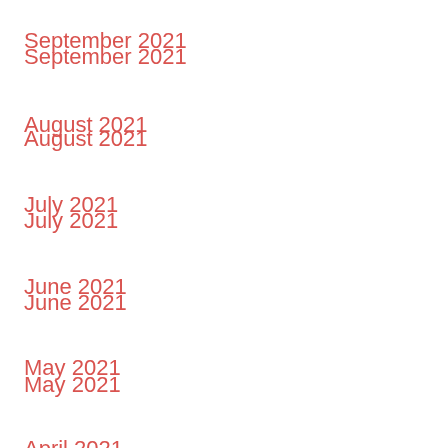September 2021
August 2021
July 2021
June 2021
May 2021
April 2021
March 2021
February 2021
January 2021
December 2020
November 2020
October 2020
^ September 2020